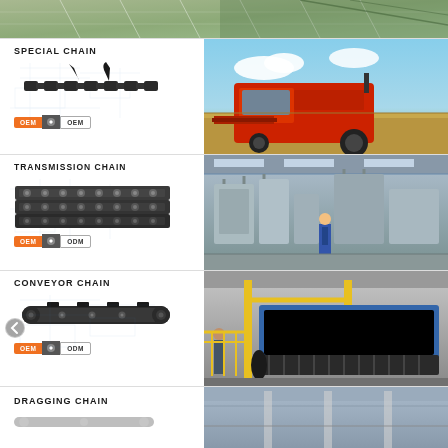[Figure (photo): Top banner: greenhouse/solar panel roof structure in green tones]
[Figure (photo): Special Chain section: sketch blueprint background, black special agricultural chain product photo on left; red combine harvester in field on right. OEM/ODM badge.]
SPECIAL CHAIN
[Figure (photo): Transmission Chain section: sketch blueprint background, triple-row roller transmission chain product photo on left; industrial factory floor with machinery and worker on right. OEM/ODM badge.]
TRANSMISSION CHAIN
[Figure (photo): Conveyor Chain section: sketch blueprint background, elongated conveyor chain link product photo on left; industrial conveyor belt machinery on right. OEM/ODM badge.]
CONVEYOR CHAIN
[Figure (photo): Dragging Chain section: bottom partial view with section title and right photo of industrial equipment]
DRAGGING CHAIN